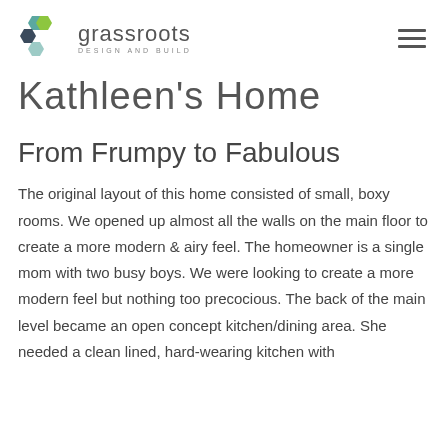grassroots DESIGN AND BUILD
Kathleen's Home
From Frumpy to Fabulous
The original layout of this home consisted of small, boxy rooms.  We opened up almost all the walls on the main floor to create a more modern & airy feel.  The homeowner is a single mom with two busy boys.  We were looking to create a more modern feel but nothing too precocious. The back of the main level became an open concept kitchen/dining area.  She needed a clean lined, hard-wearing kitchen with